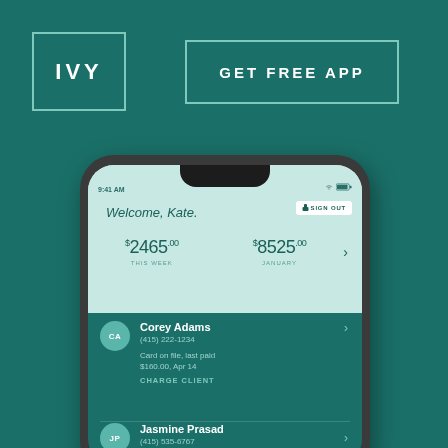IVY
GET FREE APP
[Figure (screenshot): iPhone mockup showing IVY app interface. Top section (light mint green) shows 'Welcome, Kate.' with a Sign Out button, and two earnings amounts: $2465.00 THIS WEEK and $8525.00 JANUARY with a right arrow. Bottom section (dark teal) shows two client entries: Corey Adams (415) 222-1234 with 'Card on file, last paid $160.00, Apr 14' and 'CHARGE CLIENT' link with chevron; Jasmine Prasad (415) 535-6767 with 'Card on file, last paid' visible and chevron.]